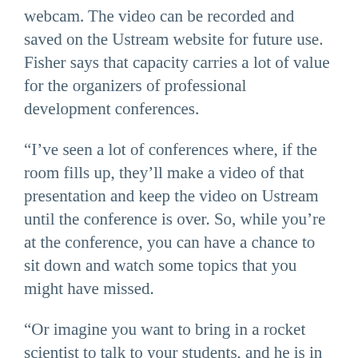webcam. The video can be recorded and saved on the Ustream website for future use. Fisher says that capacity carries a lot of value for the organizers of professional development conferences.
“I’ve seen a lot of conferences where, if the room fills up, they’ll make a video of that presentation and keep the video on Ustream until the conference is over. So, while you’re at the conference, you can have a chance to sit down and watch some topics that you might have missed.
“Or imagine you want to bring in a rocket scientist to talk to your students, and he is in a different part of the world. All the person needs to do is log on to Ustream, and once you subscribe to his